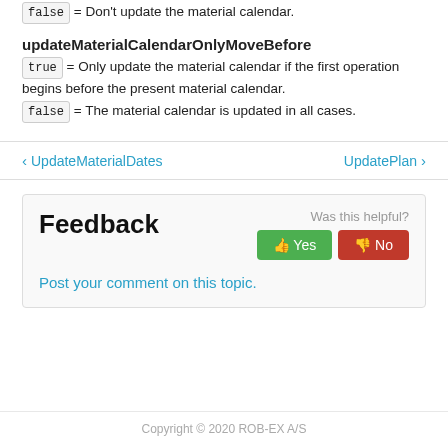false = Don't update the material calendar.
updateMaterialCalendarOnlyMoveBefore
true = Only update the material calendar if the first operation begins before the present material calendar.
false = The material calendar is updated in all cases.
◀ UpdateMaterialDates    UpdatePlan ▶
Feedback
Post your comment on this topic.
Was this helpful? Yes No
Copyright © 2020 ROB-EX A/S